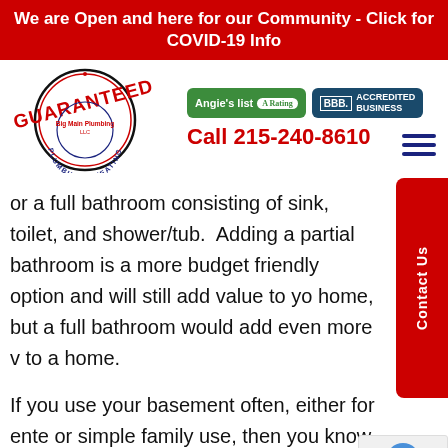We are Open and here for our Community - Click for COVID-19 Info
[Figure (logo): Guaranteed Plumbing & Heating circular logo with red and blue text, stamp-style]
[Figure (logo): Angie's List A Rating green badge logo]
[Figure (logo): BBB Accredited Business dark teal badge logo]
Call 215-240-8610
or a full bathroom consisting of sink, toilet, and shower/tub.  Adding a partial bathroom is a more budget friendly option and will still add value to your home, but a full bathroom would add even more value to a home.
If you use your basement often, either for entertainment or simple family use, then you know it's an